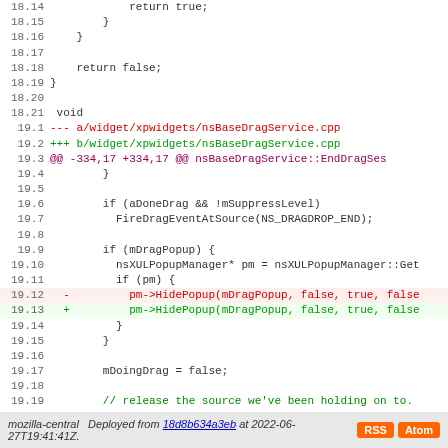[Figure (screenshot): Code diff view showing lines 18.14 through 19.21 of a C++ file nsBaseDragService.cpp with diff markers (---, +++, @@) and modified lines for HidePopup call]
mozilla-central  Deployed from 18d8b634a3eb at 2022-06-27T19:41:41Z.